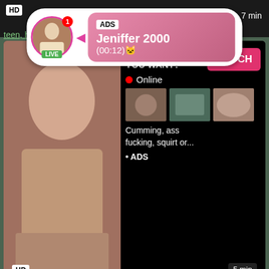[Figure (screenshot): Adult video website screenshot showing HD badge, 7 min duration, a live chat popup overlay with avatar, ADS label, name Jeniffer 2000, time (00:12), pink gradient background. Below is a video ad with explicit content, WHAT DO YOU WANT? text, WATCH button, Online indicator, thumbnail images, text 'Cumming, ass fucking, squirt or... • ADS'. HD badge and 5 min duration at bottom. Video title 'Doxy With Dick Anal Tranny Shemale', tags: anal, tranny, shemale, big ass, ladyboy, trannys, anal ga...]
HD
7 min
ADS
Jeniffer 2000
(00:12)🐱
LIVE
teen, h... eur...
WHAT DO YOU WANT?
WATCH
Online
Cumming, ass fucking, squirt or...
• ADS
HD
5 min
Doxy With Dick Anal Tranny Shemale
anal, tranny, shemale, big ass, ladyboy, trannys, anal ga...